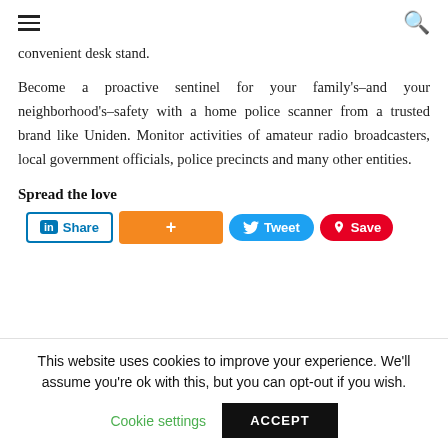≡  🔍
convenient desk stand.
Become a proactive sentinel for your family's–and your neighborhood's–safety with a home police scanner from a trusted brand like Uniden. Monitor activities of amateur radio broadcasters, local government officials, police precincts and many other entities.
Spread the love
[Figure (other): Social sharing buttons: LinkedIn Share, Google+ plus button, Twitter Tweet, Pinterest Save]
This website uses cookies to improve your experience. We'll assume you're ok with this, but you can opt-out if you wish.
Cookie settings  ACCEPT